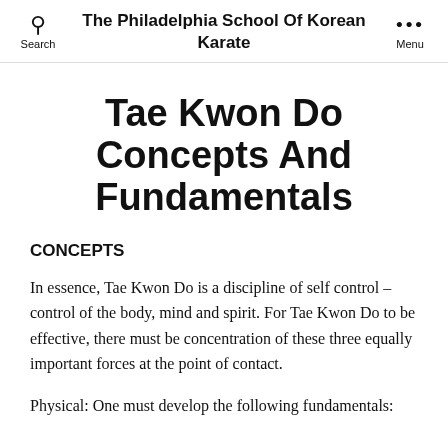Search | The Philadelphia School Of Korean Karate | Menu
Tae Kwon Do Concepts And Fundamentals
CONCEPTS
In essence, Tae Kwon Do is a discipline of self control – control of the body, mind and spirit. For Tae Kwon Do to be effective, there must be concentration of these three equally important forces at the point of contact.
Physical: One must develop the following fundamentals: